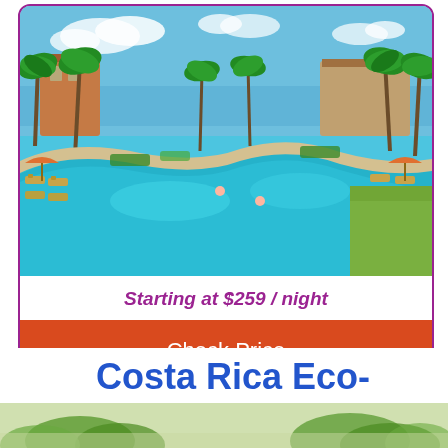[Figure (photo): Aerial view of a tropical resort with a large turquoise pool, palm trees, lounge chairs, and ocean in the background]
Starting at $259 / night
Check Price
Costa Rica Eco-Adventure Tour
[Figure (photo): Partial image of tropical foliage/jungle scene at the bottom of the page]